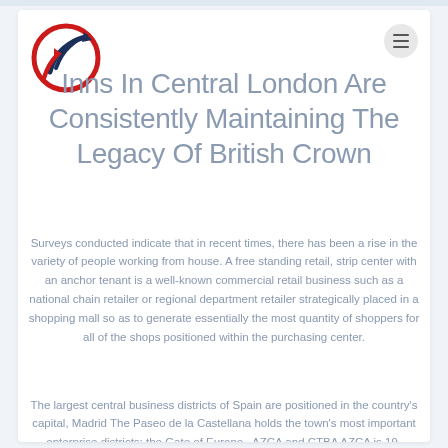[Figure (logo): Circular logo with red outer ring and navy blue arrows/chart arrows inside, representing a financial growth brand]
Inns In Central London Are Consistently Maintaining The Legacy Of British Crown
Surveys conducted indicate that in recent times, there has been a rise in the variety of people working from house. A free standing retail, strip center with an anchor tenant is a well-known commercial retail business such as a national chain retailer or regional department retailer strategically placed in a shopping mall so as to generate essentially the most quantity of shoppers for all of the shops positioned within the purchasing center.
The largest central business districts of Spain are positioned in the country's capital, Madrid The Paseo de la Castellana holds the town's most important enterprise districts: the Gate of Europe , AZCA and CTBA AZCA is 19-